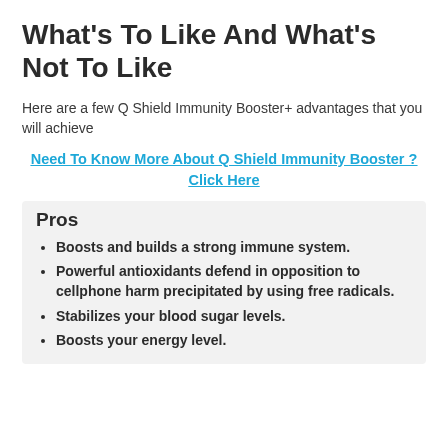What's To Like And What's Not To Like
Here are a few Q Shield Immunity Booster+ advantages that you will achieve
Need To Know More About Q Shield Immunity Booster ? Click Here
Pros
Boosts and builds a strong immune system.
Powerful antioxidants defend in opposition to cellphone harm precipitated by using free radicals.
Stabilizes your blood sugar levels.
Boosts your energy level.